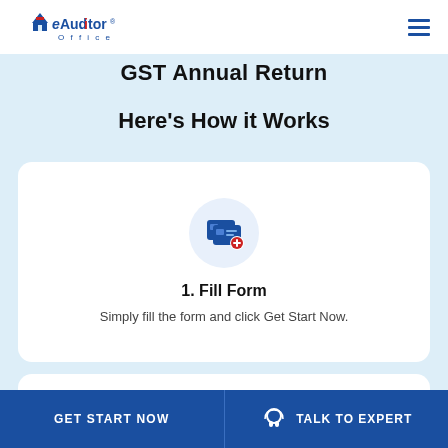eAuditor Office — navigation header with logo and hamburger menu
GST Annual Return
Here's How it Works
[Figure (illustration): Icon showing two overlapping cards/ID badges with a red plus sign]
1. Fill Form
Simply fill the form and click Get Start Now.
GET START NOW   TALK TO EXPERT